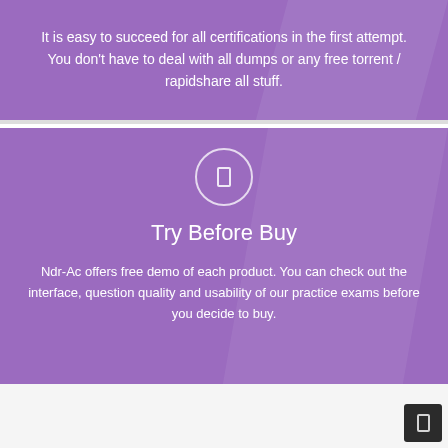It is easy to succeed for all certifications in the first attempt. You don't have to deal with all dumps or any free torrent / rapidshare all stuff.
[Figure (illustration): Icon circle with a rectangle icon inside, representing 'Try Before Buy' feature]
Try Before Buy
Ndr-Ac offers free demo of each product. You can check out the interface, question quality and usability of our practice exams before you decide to buy.